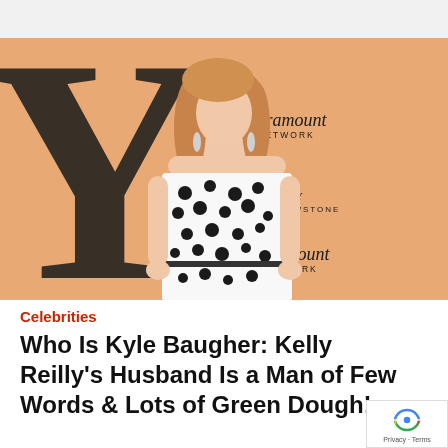[Figure (photo): Woman with blonde hair wearing a white and black polka dot strapless dress, posing in front of an orange Paramount Network / Yellowstone branded backdrop.]
Celebrities
Who Is Kyle Baugher: Kelly Reilly's Husband Is a Man of Few Words & Lots of Green Dough!